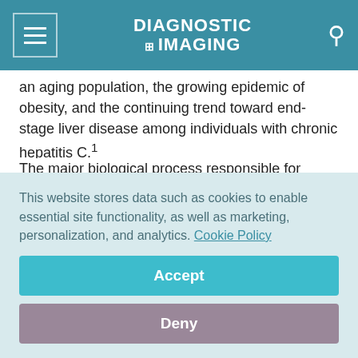DIAGNOSTIC IMAGING
an aging population, the growing epidemic of obesity, and the continuing trend toward end-stage liver disease among individuals with chronic hepatitis C.1
The major biological process responsible for clinical liver disease is progressive hepatic fibrosis. Liver biopsy has been considered the gold standard for detecting hepatic fibrosis. However, the use of liver biopsy in large populations will not be practical. Specifically, there are limitations with the
This website stores data such as cookies to enable essential site functionality, as well as marketing, personalization, and analytics. Cookie Policy
Accept
Deny